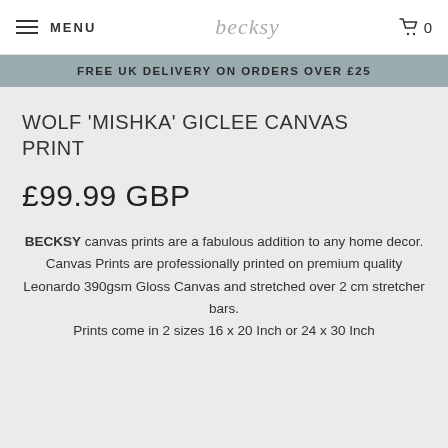MENU | becksy | 0
FREE UK DELIVERY ON ORDERS OVER £25
WOLF 'MISHKA' GICLEE CANVAS PRINT
£99.99 GBP
BECKSY canvas prints are a fabulous addition to any home decor. Canvas Prints are professionally printed on premium quality Leonardo 390gsm Gloss Canvas and stretched over 2 cm stretcher bars. Prints come in 2 sizes 16 x 20 Inch or 24 x 30 Inch